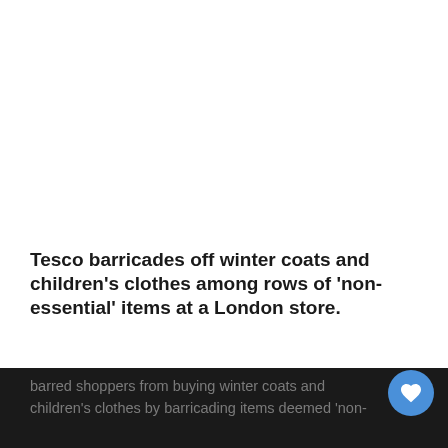Tesco barricades off winter coats and children's clothes among rows of 'non-essential' items at a London store.
New lockdown measures were imposed in a Tesco store in Streatham, South London as metal barricades were seen blocking coats, clothes and other items. Tesco has barred shoppers from buying winter coats and children's clothes by barricading items deemed 'non-